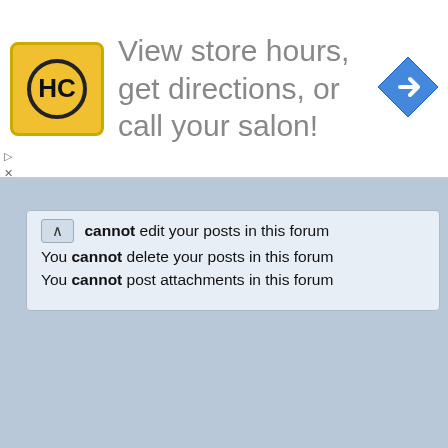[Figure (infographic): Advertisement banner with HC salon logo (yellow square with black HC text and circle), text 'View store hours, get directions, or call your salon!', and a blue navigation arrow icon on the right.]
cannot edit your posts in this forum
You cannot delete your posts in this forum
You cannot post attachments in this forum